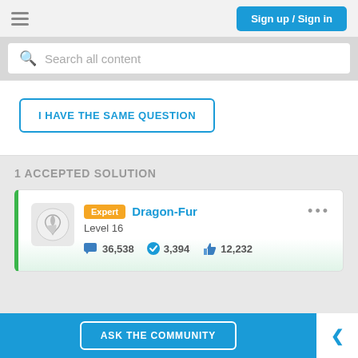Sign up / Sign in
Search all content
I HAVE THE SAME QUESTION
1 ACCEPTED SOLUTION
Expert  Dragon-Fur
Level 16
36,538  3,394  12,232
ASK THE COMMUNITY